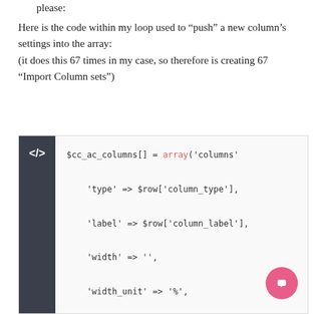please:
Here is the code within my loop used to "push" a new column's settings into the array:
(it does this 67 times in my case, so therefore is creating 67 "Import Column sets")
[Figure (screenshot): Code block with dark sidebar containing </> icon and PHP code: $cc_ac_columns[] = array('columns' ... 'type' => $row['column_type'], 'label' => $row['column_label'], 'width' => '', 'width_unit' => '%',]